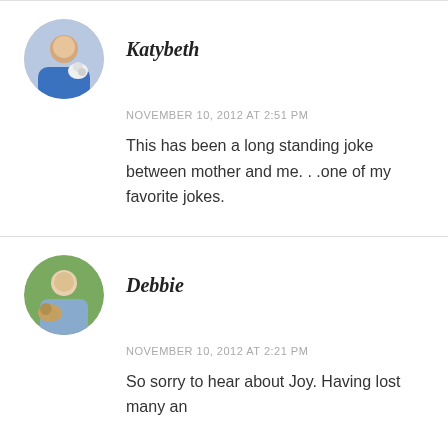Katybeth
NOVEMBER 10, 2012 AT 2:51 PM
This has been a long standing joke between mother and me. . .one of my favorite jokes.
Debbie
NOVEMBER 10, 2012 AT 2:21 PM
So sorry to hear about Joy. Having lost many an